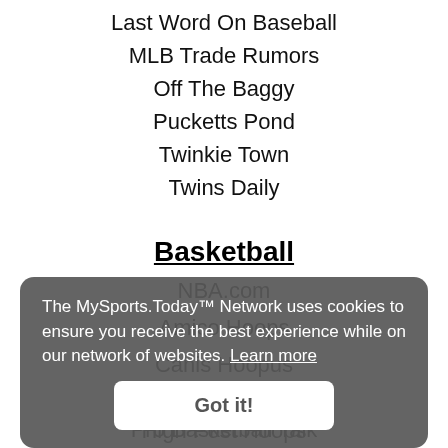Last Word On Baseball
MLB Trade Rumors
Off The Baggy
Pucketts Pond
Twinkie Town
Twins Daily
Basketball
NBA.com
Amico Hoops
Canis Hoopus
Dunking With Wolves
High Post Hoops
Hoops Hype
Hoops Rumors
Last Word On Pro Basketball
Pro Basketball Talk
The MySports.Today™ Network uses cookies to ensure you receive the best experience while on our network of websites. Learn more
Got it!